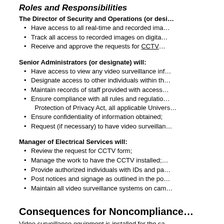Roles and Responsibilities
The Director of Security and Operations (or desi…
Have access to all real-time and recorded ima…
Track all access to recorded images on digita…
Receive and approve the requests for CCTV…
Senior Administrators (or designate) will:
Have access to view any video surveillance inf…
Designate access to other individuals within th…
Maintain records of staff provided with access…
Ensure compliance with all rules and regulation… Protection of Privacy Act, all applicable Univers…
Ensure confidentiality of information obtained;
Request (if necessary) to have video surveillan…
Manager of Electrical Services will:
Review the request for CCTV form;
Manage the work to have the CCTV installed;…
Provide authorized individuals with IDs and pa…
Post notices and signage as outlined in the po…
Maintain all video surveillance systems on cam…
Consequences for Noncompliance
Video surveillance equipment is installed for the sa… than the purposes outlined in this policy it could be a… Protection of Privacy Act (153 KB). Such a bre…